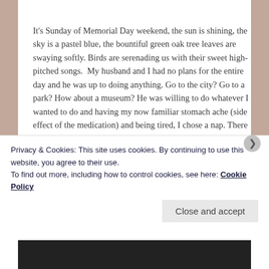It's Sunday of Memorial Day weekend, the sun is shining, the sky is a pastel blue, the bountiful green oak tree leaves are swaying softly. Birds are serenading us with their sweet high-pitched songs.  My husband and I had no plans for the entire day and he was up to doing anything. Go to the city? Go to a park? How about a museum? He was willing to do whatever I wanted to do and having my now familiar stomach ache (side effect of the medication) and being tired, I chose a nap. There was no back and forth discussion of which place to go or what would be
Privacy & Cookies: This site uses cookies. By continuing to use this website, you agree to their use.
To find out more, including how to control cookies, see here: Cookie Policy
Close and accept